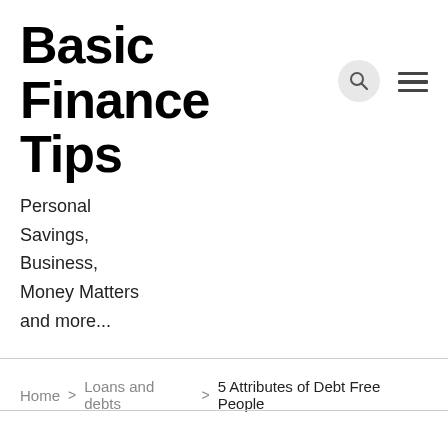Basic Finance Tips
Personal Savings, Business, Money Matters and more...
Home > Loans and debts > 5 Attributes of Debt Free People